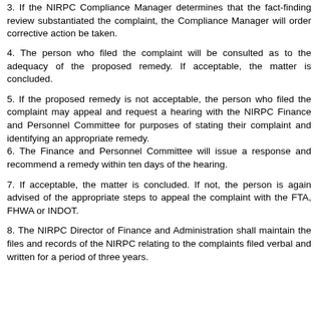3. If the NIRPC Compliance Manager determines that the fact-finding review substantiated the complaint, the Compliance Manager will order corrective action be taken.
4. The person who filed the complaint will be consulted as to the adequacy of the proposed remedy. If acceptable, the matter is concluded.
5. If the proposed remedy is not acceptable, the person who filed the complaint may appeal and request a hearing with the NIRPC Finance and Personnel Committee for purposes of stating their complaint and identifying an appropriate remedy.
6. The Finance and Personnel Committee will issue a response and recommend a remedy within ten days of the hearing.
7. If acceptable, the matter is concluded. If not, the person is again advised of the appropriate steps to appeal the complaint with the FTA, FHWA or INDOT.
8. The NIRPC Director of Finance and Administration shall maintain the files and records of the NIRPC relating to the complaints filed verbal and written for a period of three years.